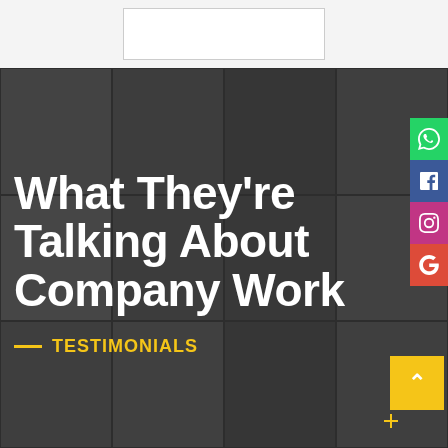[Figure (screenshot): Top white bar with a bordered logo/image box in the center]
[Figure (photo): Dark overlay composite of diverse people's faces arranged in a grid, used as background for testimonials section]
What They're Talking About Company Work
TESTIMONIALS